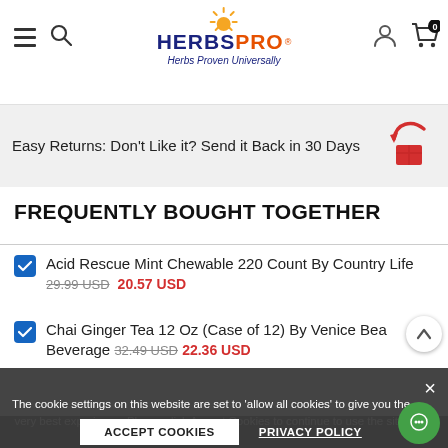HerbsPro - Herbs Proven Universally
Easy Returns: Don't Like it? Send it Back in 30 Days
FREQUENTLY BOUGHT TOGETHER
Acid Rescue Mint Chewable 220 Count By Country Life  29.99 USD  20.57 USD
Chai Ginger Tea 12 Oz (Case of 12) By Venice Bea Beverage  32.49 USD  22.36 USD
The cookie settings on this website are set to 'allow all cookies' to give you the very best experience. Please click Accept Cookies to continue to use the site.
ACCEPT COOKIES
PRIVACY POLICY